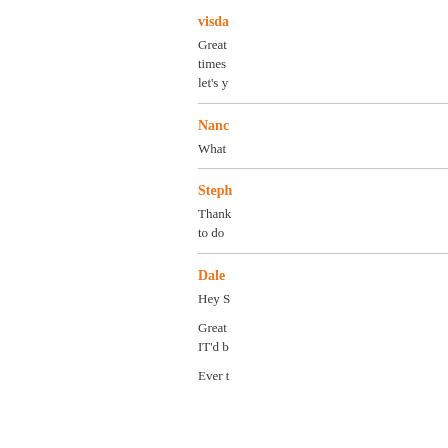visda
Great times let's y
Nanc
What
Steph
Thank to do
Dale
Hey S
Great IT'd b
Ever t